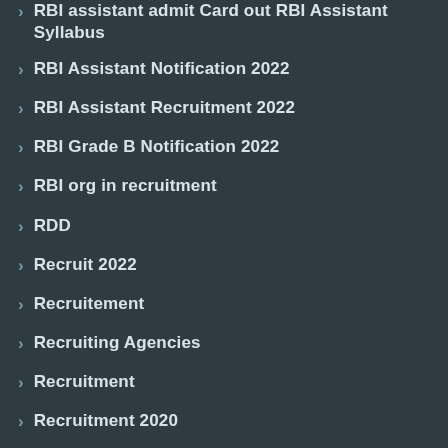RBI assistant admit Card out RBI Assistant Syllabus
RBI Assistant Notification 2022
RBI Assistant Recruitment 2022
RBI Grade B Notification 2022
RBI org in recruitment
RDD
Recruit 2022
Recruitement
Recruiting Agencies
Recruitment
Recruitment 2020
Recruitment 2022
recruitment 2022 NPCIL salary